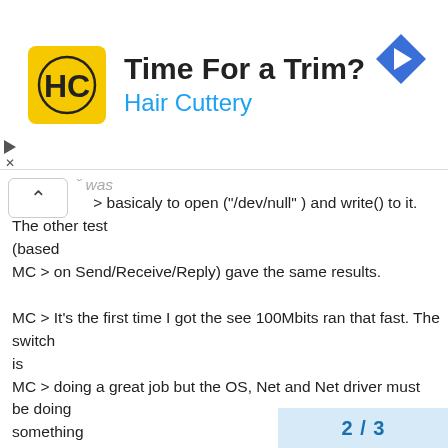[Figure (advertisement): Hair Cuttery advertisement banner with logo, title 'Time For a Trim?', subtitle 'Hair Cuttery', and navigation arrow icon]
> basicaly to open ("/dev/null" ) and write() to it. The other test
(based
MC > on Send/Receive/Reply) gave the same results.

MC > It's the first time I got the see 100Mbits ran that fast. The switch
is
MC > doing a great job but the OS, Net and Net driver must be doing
something
MC > right...

MC > Just though it was worth a post > 😉

MC > - Mario
2 / 3